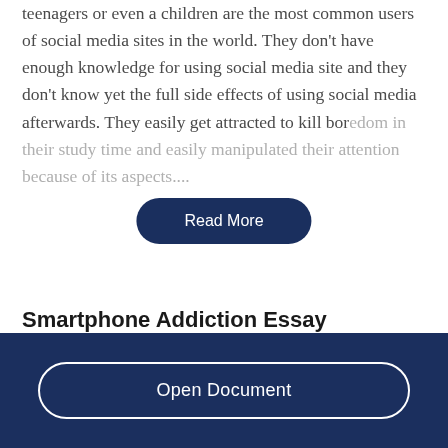teenagers or even a children are the most common users of social media sites in the world. They don't have enough knowledge for using social media site and they don't know yet the full side effects of using social media afterwards. They easily get attracted to kill boredom in their study time and easily manipulated their attention because of its aspects....
Smartphone Addiction Essay